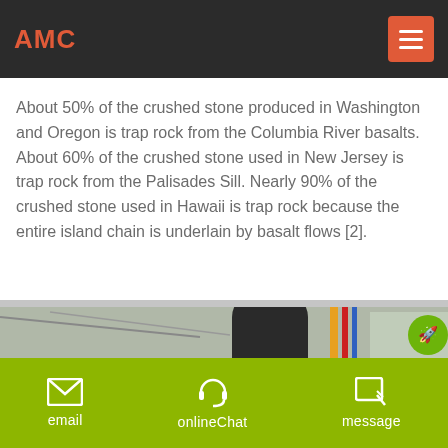AMC
About 50% of the crushed stone produced in Washington and Oregon is trap rock from the Columbia River basalts. About 60% of the crushed stone used in New Jersey is trap rock from the Palisades Sill. Nearly 90% of the crushed stone used in Hawaii is trap rock because the entire island chain is underlain by basalt flows [2].
[Figure (photo): Industrial machinery (dark cylindrical equipment) inside a warehouse/factory with metal roof structure, colorful pipes visible]
email   onlineChat   message